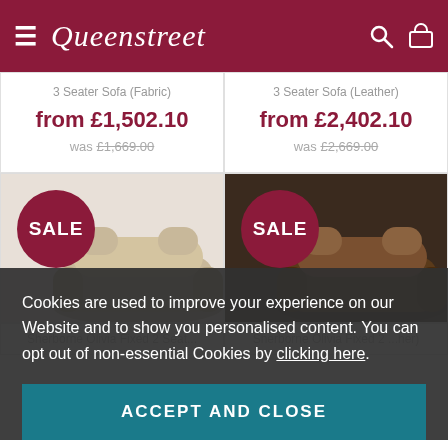Queenstreet
3 Seater Sofa (Fabric)
from £1,502.10
was £1,669.00
3 Seater Sofa (Leather)
from £2,402.10
was £2,669.00
[Figure (photo): SALE badge with beige sofa image]
[Figure (photo): SALE badge with brown leather sofa image]
Sherborne Olivia Fixed 2 Seat...
Sherborne Olivia Fixed 2 ...her)
Cookies are used to improve your experience on our Website and to show you personalised content. You can opt out of non-essential Cookies by clicking here.
ACCEPT AND CLOSE